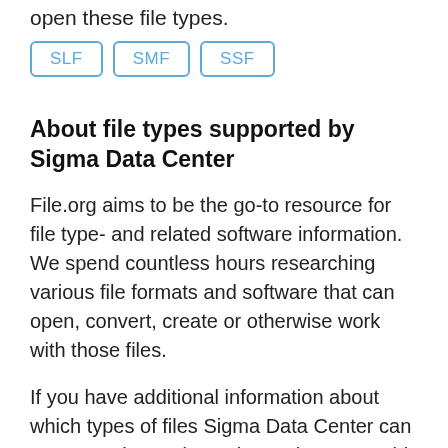open these file types.
SLF
SMF
SSF
About file types supported by Sigma Data Center
File.org aims to be the go-to resource for file type- and related software information. We spend countless hours researching various file formats and software that can open, convert, create or otherwise work with those files.
If you have additional information about which types of files Sigma Data Center can process, please do get in touch - we would love hearing from you.